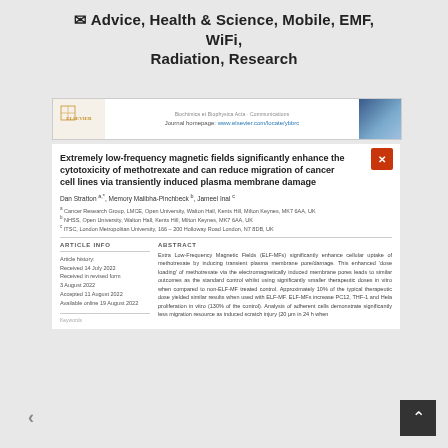Advice, Health & Science, Mobile, EMF, WiFi, Radiation, Research
[Figure (logo): Elsevier journal banner with logo, journal homepage URL www.elsevier.com/locate/ybbrc, and thumbnail image]
Extremely low-frequency magnetic fields significantly enhance the cytotoxicity of methotrexate and can reduce migration of cancer cell lines via transiently induced plasma membrane damage
Dan Stratton a,*, Memory Malibha-Pinchbeck b, Jameel Inal c
a Cancer Research Group, LMCE, Open University, Walton Hall, Kents Hill, Milton Keynes, MK7 6AA, UK
b NHSS, Open University, Walton Hall, Kents Hill, Milton Keynes, MK7 6AA, UK
c ITSC, London Metropolitan University, 166 – 200 Holloway Road London, N7 8DB, UK
ARTICLE INFO
Article history:
Received 14 July 2022
Received in revised form
3 August 2022
Accepted 11 August 2022
Available online 19 August 2022
ABSTRACT
Extra Low-Frequency Magnetic Fields (ELF-MFs) significantly enhance cellular uptake of methotrexate by inducing transient plasma membrane pore/damage. This enhanced 'dose loading' of methotrexate via the electromagnetically induced membrane pores leads to similar outcomes as the standard control whilst using significantly smaller therapeutic doses in vitro when compared to non-ELF-MF treated control. Approximately 10% of the typical therapeutic dose yielded similar results when used with ELF-MF. ELF-MFs increase PC12, THF-1 and Hela proliferation in vitro (130% of the control). Analysis of adherent cells demonstrate significantly less migration resource as induced scratch injury (20 μm in 24 h when